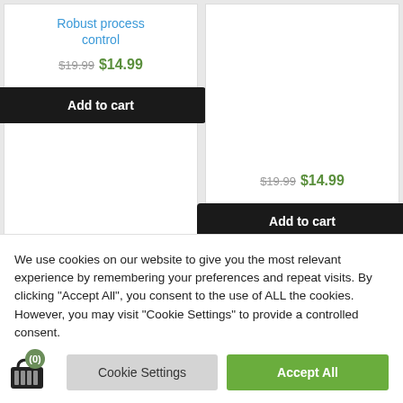Robust process control
$19.99 $14.99
Add to cart
Math and Magic
$19.99 $14.99
Add to cart
[Figure (illustration): Book cover for Calculus with architectural interior image]
Sale!
[Figure (illustration): Book cover: Mastering Linear Algebra - An Introduction with Applications, Course Guidebook]
Sale!
We use cookies on our website to give you the most relevant experience by remembering your preferences and repeat visits. By clicking “Accept All”, you consent to the use of ALL the cookies. However, you may visit "Cookie Settings" to provide a controlled consent.
Cookie Settings
Accept All